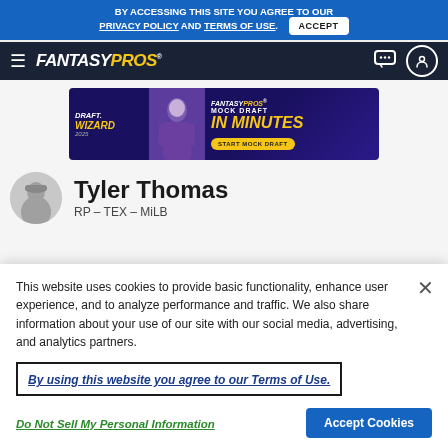BY ACCESSING THIS SITE YOU AGREE TO OUR PRIVACY POLICY AND TERMS OF USE. ACCEPT
FANTASYPROS® (navigation bar)
[Figure (screenshot): FantasyPros Draft Wizard ad banner: DRAFT WIZARD | MOCK DRAFT IN MINUTES | START MOCK DRAFT button, with football player image in Vikings/purple uniform]
Tyler Thomas
RP – TEX – MiLB
This website uses cookies to provide basic functionality, enhance user experience, and to analyze performance and traffic. We also share information about your use of our site with our social media, advertising, and analytics partners.
By using this website you agree to our Terms of Use.
Do Not Sell My Personal Information
Accept Cookies